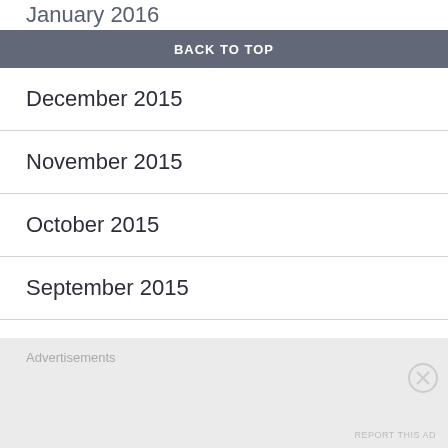January 2016
BACK TO TOP
December 2015
November 2015
October 2015
September 2015
August 2015
July 2015
June 2015
Advertisements
REPORT THIS AD